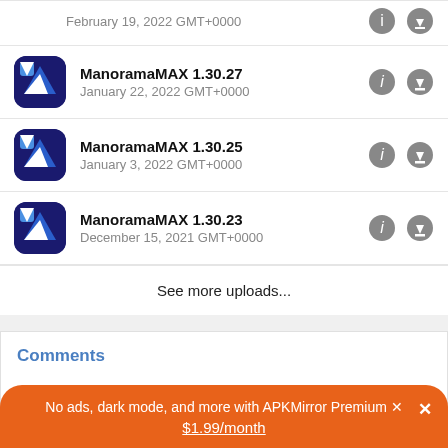February 19, 2022 GMT+0000
ManoramaMAX 1.30.27 — January 22, 2022 GMT+0000
ManoramaMAX 1.30.25 — January 3, 2022 GMT+0000
ManoramaMAX 1.30.23 — December 15, 2021 GMT+0000
See more uploads...
Comments
No ads, dark mode, and more with APKMirror Premium ×
$1.99/month